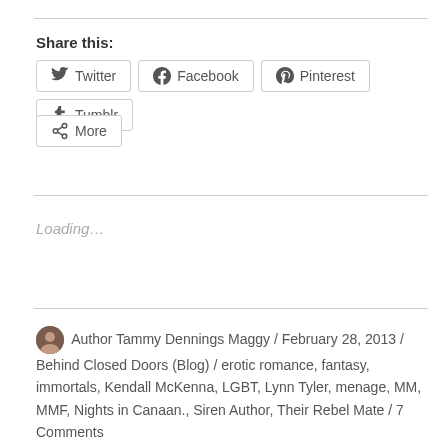Share this:
Twitter  Facebook  Pinterest  Tumblr  More
Loading...
Author Tammy Dennings Maggy / February 28, 2013 / Behind Closed Doors (Blog) / erotic romance, fantasy, immortals, Kendall McKenna, LGBT, Lynn Tyler, menage, MM, MMF, Nights in Canaan., Siren Author, Their Rebel Mate / 7 Comments